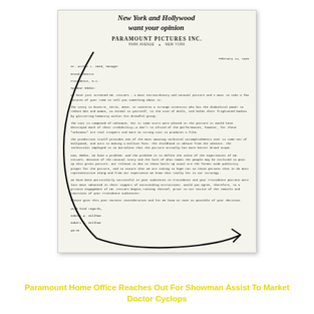[Figure (photo): Photograph of a typed letter on Paramount Pictures Inc. letterhead, dated February 14, 1940, with handwritten annotation 'New York and Hollywood want your opinion' across the top, and a large curved arrow drawn around the left and bottom of the letter body. The letter is addressed to Mr. Arthur L. Meed, Manager, Grand Theatre, Providence, R.I., regarding Dr. Cyclops and requesting showman assistance to market the picture.]
Paramount Home Office Reaches Out For Showman Assist To Market Doctor Cyclops